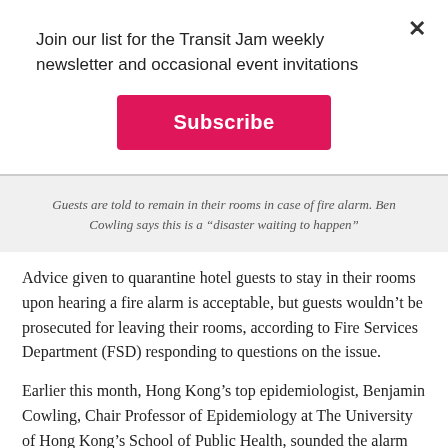Join our list for the Transit Jam weekly newsletter and occasional event invitations
Subscribe
Guests are told to remain in their rooms in case of fire alarm. Ben Cowling says this is a “disaster waiting to happen”
Advice given to quarantine hotel guests to stay in their rooms upon hearing a fire alarm is acceptable, but guests wouldn’t be prosecuted for leaving their rooms, according to Fire Services Department (FSD) responding to questions on the issue.
Earlier this month, Hong Kong’s top epidemiologist, Benjamin Cowling, Chair Professor of Epidemiology at The University of Hong Kong’s School of Public Health, sounded the alarm on written advice given to quarantine guests which, he said,